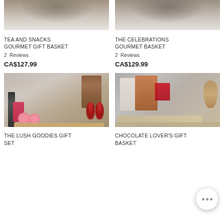[Figure (photo): Tea and Snacks Gourmet Gift Basket product photo - top portion visible]
[Figure (photo): The Celebrations Gourmet Basket product photo - top portion visible]
TEA AND SNACKS GOURMET GIFT BASKET
2  Reviews
CA$127.99
THE CELEBRATIONS GOURMET BASKET
2  Reviews
CA$129.99
[Figure (photo): The Lush Goodies Gift Set product photo - wine bottle, chocolate, pink hearts, wooden barrel, wine glasses]
[Figure (photo): Chocolate Lover's Gift Basket product photo - various chocolate products, wooden box, mug]
THE LUSH GOODIES GIFT SET
CHOCOLATE LOVER'S GIFT BASKET